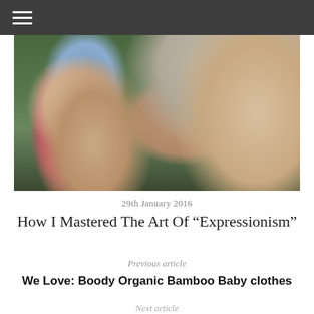≡ (hamburger menu)
[Figure (photo): Outdoor photo of a young child wearing a colorful knit hat with tassels and a woman with blonde hair holding a baby, with green grass and autumn leaves in the background]
29th January 2016
How I Mastered The Art Of “Expressionis​m”
Previous article
We Love: Boody Organic Bamboo Baby clothes
Next article